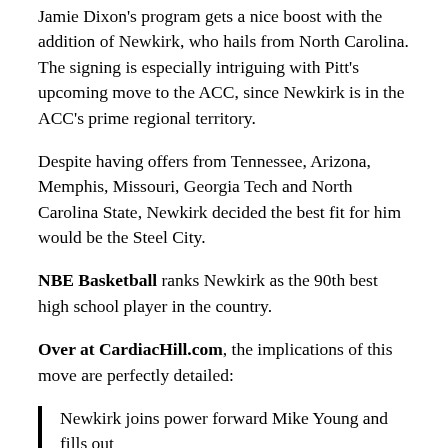Jamie Dixon's program gets a nice boost with the addition of Newkirk, who hails from North Carolina. The signing is especially intriguing with Pitt's upcoming move to the ACC, since Newkirk is in the ACC's prime regional territory.
Despite having offers from Tennessee, Arizona, Memphis, Missouri, Georgia Tech and North Carolina State, Newkirk decided the best fit for him would be the Steel City.
NBE Basketball ranks Newkirk as the 90th best high school player in the country.
Over at CardiacHill.com, the implications of this move are perfectly detailed:
Newkirk joins power forward Mike Young and fills out